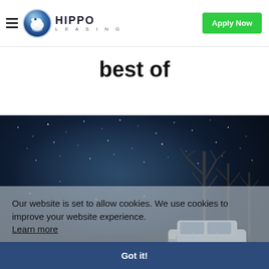HIPPO LEASING — Apply Now
best of
[Figure (photo): Night-time outdoor scene with stars and bare trees, a white Land Rover Defender SUV partially visible in the lower right, dark blue/black sky background]
Our website is set to allow cookies. We use cookies to improve your website experience. Learn more
Got it!